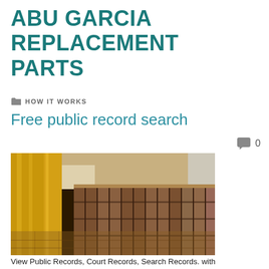ABU GARCIA REPLACEMENT PARTS
HOW IT WORKS
Free public record search
[Figure (photo): Interior of a grand public records hall or courthouse with golden marble columns, wooden benches/bookcases along a long corridor with a reflective tiled floor]
View Public Records, Court Records, Search Records. with